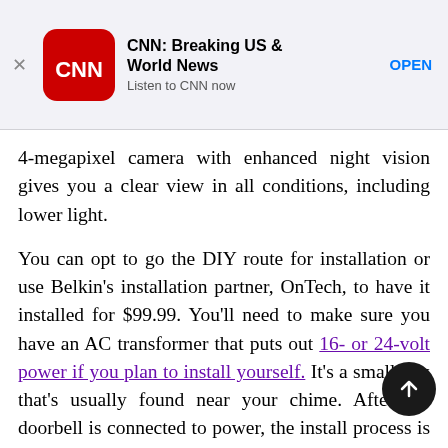[Figure (screenshot): CNN app banner advertisement with CNN logo, title 'CNN: Breaking US & World News', subtitle 'Listen to CNN now', and an OPEN button]
4-megapixel camera with enhanced night vision gives you a clear view in all conditions, including lower light.
You can opt to go the DIY route for installation or use Belkin's installation partner, OnTech, to have it installed for $99.99. You'll need to make sure you have an AC transformer that puts out 16- or 24-volt power if you plan to install yourself. It's a small box that's usually found near your chime. After the doorbell is connected to power, the install process is done on your iPhone — you scan a code in the Home app, answer a few questions and a few minutes it's connected to your Wi-Fi network and recording video to your iCloud account.